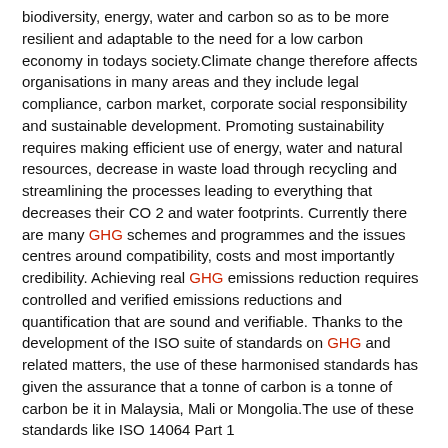biodiversity, energy, water and carbon so as to be more resilient and adaptable to the need for a low carbon economy in todays society.Climate change therefore affects organisations in many areas and they include legal compliance, carbon market, corporate social responsibility and sustainable development. Promoting sustainability requires making efficient use of energy, water and natural resources, decrease in waste load through recycling and streamlining the processes leading to everything that decreases their CO 2 and water footprints. Currently there are many GHG schemes and programmes and the issues centres around compatibility, costs and most importantly credibility. Achieving real GHG emissions reduction requires controlled and verified emissions reductions and quantification that are sound and verifiable. Thanks to the development of the ISO suite of standards on GHG and related matters, the use of these harmonised standards has given the assurance that a tonne of carbon is a tonne of carbon be it in Malaysia, Mali or Mongolia.The use of these standards like ISO 14064 Part 1
18. National and Sectoral GHG Mitigation Potential
Energy Technology Data Exchange (ETDEWEB)